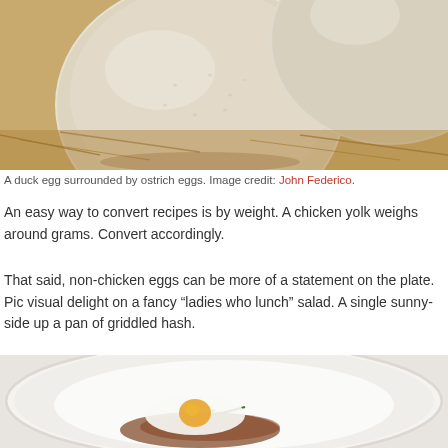[Figure (photo): Close-up photograph of large pale eggs (ostrich eggs) with a smaller duck egg, resting on straw or hay]
A duck egg surrounded by ostrich eggs. Image credit: John Federico.
An easy way to convert recipes is by weight. A chicken yolk weighs around grams. Convert accordingly.
That said, non-chicken eggs can be more of a statement on the plate. Pic visual delight on a fancy “ladies who lunch” salad. A single sunny-side up a pan of griddled hash.
[Figure (photo): Close-up photograph of a white plate with what appears to be a cooked egg dish with green garnish]